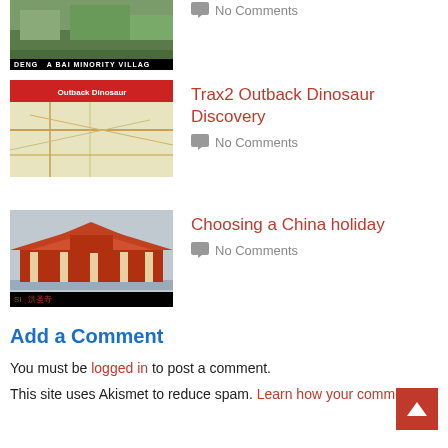[Figure (photo): Partial image of Deng, a Bai Minority Village - green hillside with village]
No Comments
[Figure (map): Map with red header banner showing Outback Dinosaur Discovery route/location]
Trax2 Outback Dinosaur Discovery
No Comments
[Figure (photo): Chinese temple/palace complex with orange rooftops and Chinese characters caption]
Choosing a China holiday
No Comments
Add a Comment
You must be logged in to post a comment.
This site uses Akismet to reduce spam. Learn how your comment data is processed.